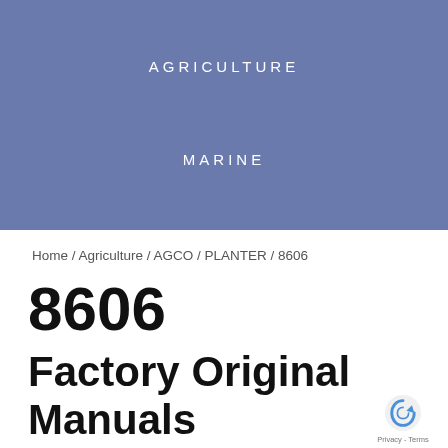AGRICULTURE
MARINE
Home / Agriculture / AGCO / PLANTER / 8606
8606
Factory Original Manuals
Click below to select your product . View factory o operator, service repair, electrical wiring diagram a parts catalog manuals for the . If you're looking fo PLANTER...